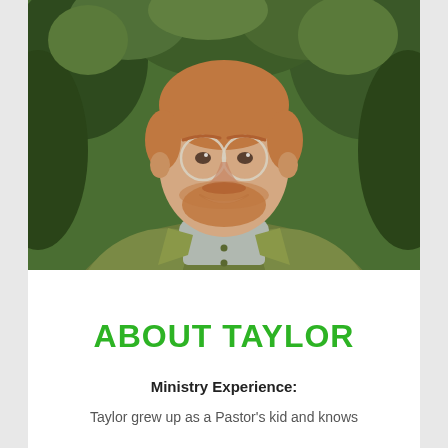[Figure (photo): Portrait photo of a young man with red beard and round glasses, wearing a green/olive jacket over a grey knit sweater, smiling, with green foliage in the background]
ABOUT TAYLOR
Ministry Experience:
Taylor grew up as a Pastor's kid and knows